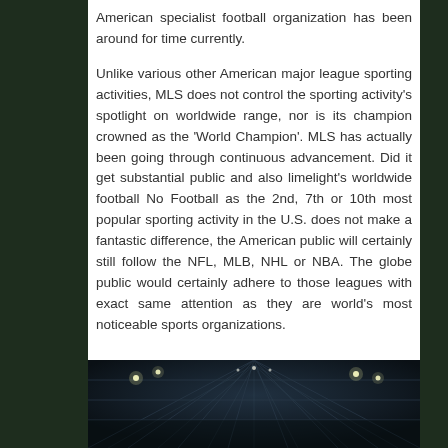American specialist football organization has been around for time currently.
Unlike various other American major league sporting activities, MLS does not control the sporting activity's spotlight on worldwide range, nor is its champion crowned as the 'World Champion'. MLS has actually been going through continuous advancement. Did it get substantial public and also limelight's worldwide football No Football as the 2nd, 7th or 10th most popular sporting activity in the U.S. does not make a fantastic difference, the American public will certainly still follow the NFL, MLB, NHL or NBA. The globe public would certainly adhere to those leagues with exact same attention as they are world's most noticeable sports organizations.
[Figure (photo): Dark stadium interior showing roof structure with lights/floodlights visible, aerial/interior view]